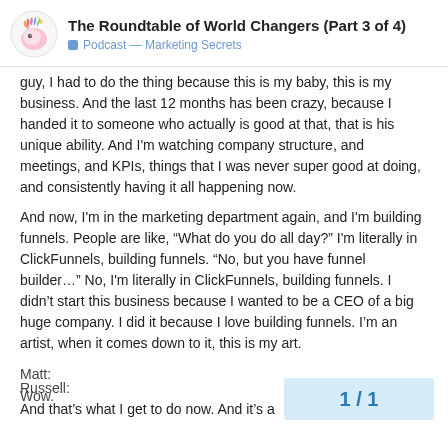The Roundtable of World Changers (Part 3 of 4)
Podcast — Marketing Secrets
guy, I had to do the thing because this is my baby, this is my business. And the last 12 months has been crazy, because I handed it to someone who actually is good at that, that is his unique ability. And I'm watching company structure, and meetings, and KPIs, things that I was never super good at doing, and consistently having it all happening now.
And now, I'm in the marketing department again, and I'm building funnels. People are like, "What do you do all day?" I'm literally in ClickFunnels, building funnels. "No, but you have funnel builder…" No, I'm literally in ClickFunnels, building funnels. I didn't start this business because I wanted to be a CEO of a big huge company. I did it because I love building funnels. I'm an artist, when it comes down to it, this is my art.
Matt:
Wow.
Russell:
And that's what I get to do now. And it's a
1 / 1